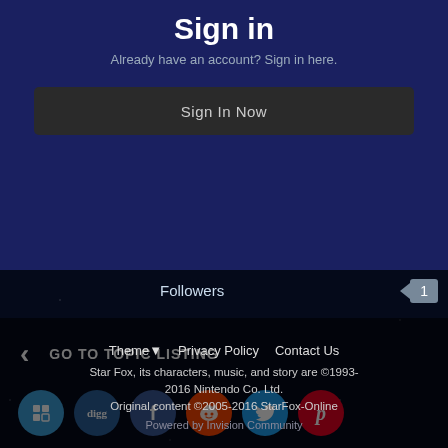Sign in
Already have an account? Sign in here.
Sign In Now
Followers  1
GO TO TOPIC LISTING
[Figure (other): Row of social sharing icon buttons: Delicious, Digg, Facebook, Reddit, Twitter, Pinterest]
Theme  Privacy Policy  Contact Us
Star Fox, its characters, music, and story are ©1993-2016 Nintendo Co. Ltd.
Original content ©2005-2016 StarFox-Online
Powered by Invision Community